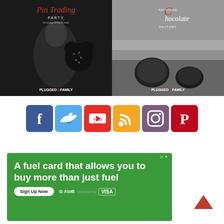[Figure (photo): Left image: Pin Trading Party - black and white photo of a boy in a suit holding a Mickey Mouse pin board, with script text 'Pin Trading Party' and PLUGGEDINFAMILY watermark]
[Figure (photo): Right image: Tatooine Chocolate Factory - black and white photo of Star Wars themed chocolates in snow, with script text 'Chocolate Factory' and PLUGGEDINFAMILY watermark]
[Figure (infographic): Social media icons row: Facebook (blue), Twitter (light blue), YouTube (red), RSS (orange), Instagram (purple), Pinterest (red)]
[Figure (infographic): Green advertisement banner: 'A fuel card that allows you to buy more than just fuel' with Sign Up Now button and AtoB / VISA logos]
[Figure (other): Back to top caret/arrow icon on the right side]